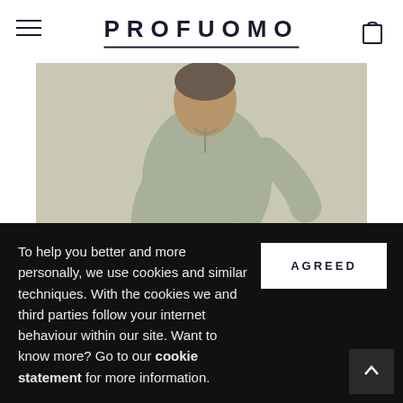PROFUOMO
[Figure (photo): Man wearing light sage green long-sleeve athletic top and grey shorts, crouching/kneeling position, wearing grey lace-up shoes, photographed against a neutral beige/grey background in a fashion editorial style.]
To help you better and more personally, we use cookies and similar techniques. With the cookies we and third parties follow your internet behaviour within our site. Want to know more? Go to our cookie statement for more information.